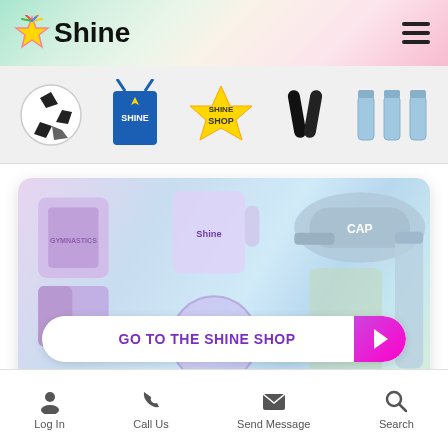Shine
[Figure (photo): Shine Shop product strip showing soccer ball, blue drawstring bag, Shine Shop star logo, black shin guards, and water bottles]
[Figure (photo): Shine Shop banner with sports merchandise including jersey, cap, ball, and water bottle with GO TO THE SHINE SHOP call to action button]
Log In | Call Us | Send Message | Search